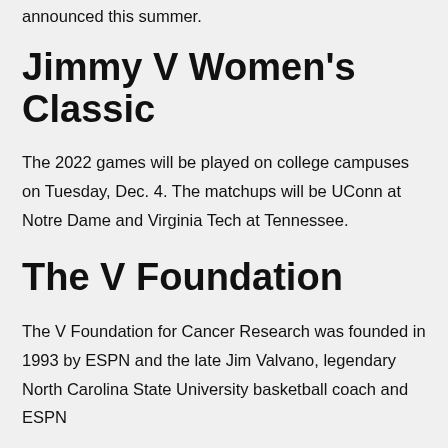announced this summer.
Jimmy V Women's Classic
The 2022 games will be played on college campuses on Tuesday, Dec. 4. The matchups will be UConn at Notre Dame and Virginia Tech at Tennessee.
The V Foundation
The V Foundation for Cancer Research was founded in 1993 by ESPN and the late Jim Valvano, legendary North Carolina State University basketball coach and ESPN